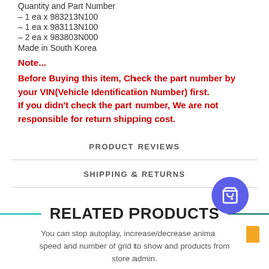Quantity and Part Number
- 1 ea x 983213N100
- 1 ea x 983113N100
- 2 ea x 983803N000
Made in South Korea
Note...
Before Buying this item, Check the part number by your VIN(Vehicle Identification Number) first. If you didn't check the part number, We are not responsible for return shipping cost.
PRODUCT REVIEWS
SHIPPING & RETURNS
RELATED PRODUCTS
You can stop autoplay, increase/decrease animation speed and number of grid to show and products from store admin.